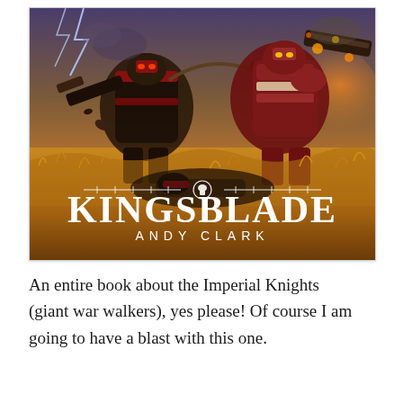[Figure (illustration): Book cover of 'Kingsblade' by Andy Clark, featuring two giant mechanical Imperial Knights (war walkers) battling in a dramatic landscape of golden grasses under a stormy sky with lightning. The title 'KINGSBLADE' is displayed in large white gothic lettering with a decorative knight-helmet emblem and ornamental line above, and 'ANDY CLARK' in spaced white capitals below.]
An entire book about the Imperial Knights (giant war walkers), yes please! Of course I am going to have a blast with this one.